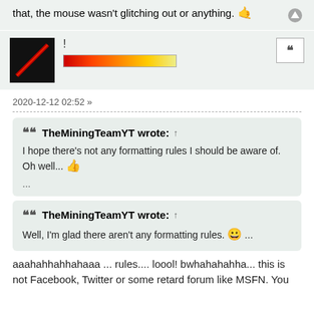that, the mouse wasn't glitching out or anything. 🤙
!
2020-12-12 02:52 »
TheMiningTeamYT wrote: ↑
I hope there's not any formatting rules I should be aware of. Oh well... 👍
...
TheMiningTeamYT wrote: ↑
Well, I'm glad there aren't any formatting rules. 😀 ...
aaahahhahhahaaa ... rules.... loool! bwhahahahha... this is not Facebook, Twitter or some retard forum like MSFN. You